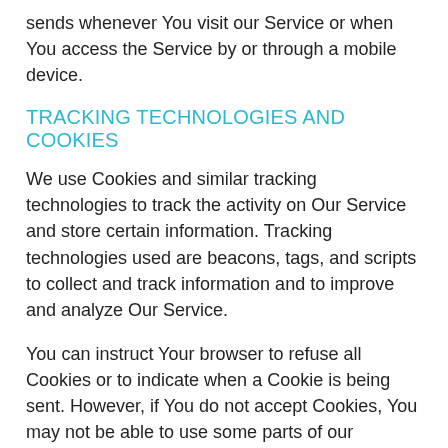sends whenever You visit our Service or when You access the Service by or through a mobile device.
TRACKING TECHNOLOGIES AND COOKIES
We use Cookies and similar tracking technologies to track the activity on Our Service and store certain information. Tracking technologies used are beacons, tags, and scripts to collect and track information and to improve and analyze Our Service.
You can instruct Your browser to refuse all Cookies or to indicate when a Cookie is being sent. However, if You do not accept Cookies, You may not be able to use some parts of our Service.
Cookies can be "Persistent" or "Session" Cookies. Persistent Cookies remain on your personal computer or mobile device when You go offline, while Session Cookies are deleted as soon as You close